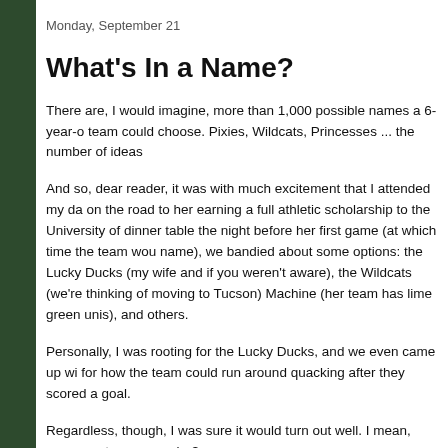Monday, September 21
What's In a Name?
There are, I would imagine, more than 1,000 possible names a 6-year-old team could choose. Pixies, Wildcats, Princesses ... the number of ideas
And so, dear reader, it was with much excitement that I attended my da on the road to her earning a full athletic scholarship to the University of dinner table the night before her first game (at which time the team wou name), we bandied about some options: the Lucky Ducks (my wife and if you weren't aware), the Wildcats (we're thinking of moving to Tucson) Machine (her team has lime green unis), and others.
Personally, I was rooting for the Lucky Ducks, and we even came up wi for how the team could run around quacking after they scored a goal.
Regardless, though, I was sure it would turn out well. I mean, come on, team name be?
How bad? How about ... the Thunder?
That's right, me, the lead writer for a site devoted to loving the Sonics a Thunder, so much so that I came up with a way to reference the team w